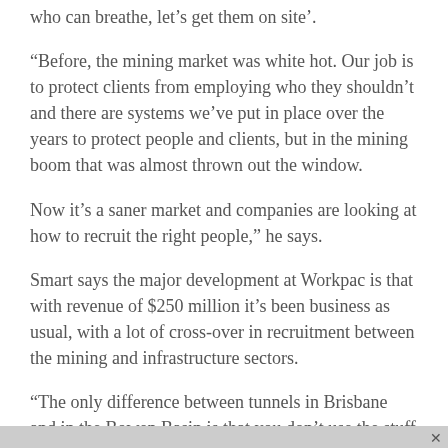who can breathe, let’s get them on site’.
“Before, the mining market was white hot. Our job is to protect clients from employing who they shouldn’t and there are systems we’ve put in place over the years to protect people and clients, but in the mining boom that was almost thrown out the window.
Now it’s a saner market and companies are looking at how to recruit the right people,” he says.
Smart says the major development at Workpac is that with revenue of $250 million it’s been business as usual, with a lot of cross-over in recruitment between the mining and infrastructure sectors.
“The only difference between tunnels in Brisbane and in the Bowen Basin is that you don’t use the stuff you’re pulling out.”
With 250 staff and 250,000 people registered on its books for recruitment Workpac holds a continual hiring policy